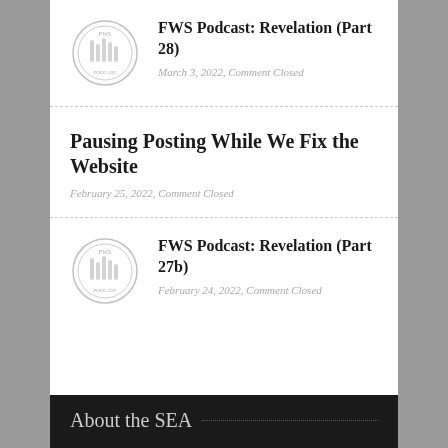[Figure (logo): FWS circular emblem/seal logo for podcast post 28]
FWS Podcast: Revelation (Part 28)
March 3, 2022, Comment Closed
Pausing Posting While We Fix the Website
February 25, 2022, Comment Closed
[Figure (logo): FWS circular emblem/seal logo for podcast post 27b]
FWS Podcast: Revelation (Part 27b)
February 24, 2022, Comment Closed
About the SEA
The Society of Evangelical Arminians (SEA) is